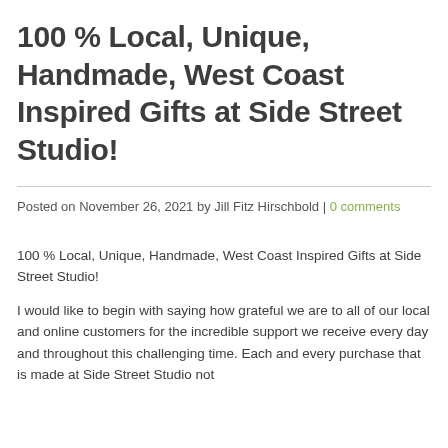100 % Local, Unique, Handmade, West Coast Inspired Gifts at Side Street Studio!
Posted on November 26, 2021 by Jill Fitz Hirschbold | 0 comments
100 % Local, Unique, Handmade, West Coast Inspired Gifts at Side Street Studio!
I would like to begin with saying how grateful we are to all of our local and online customers for the incredible support we receive every day and throughout this challenging time. Each and every purchase that is made at Side Street Studio not